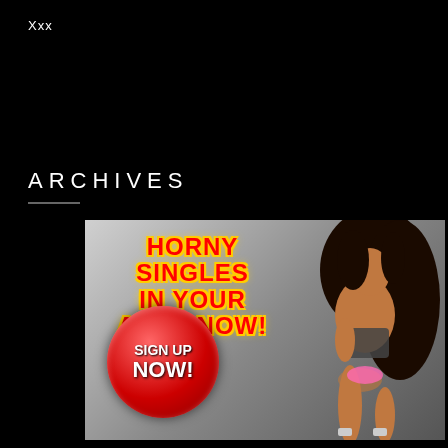Xxx
ARCHIVES
[Figure (illustration): Adult dating advertisement banner with text 'HORNY SINGLES IN YOUR AREA NOW!' in red/yellow bold text, a red circular button saying 'SIGN UP NOW!', and a woman in bikini and high heels posing on a grey background.]